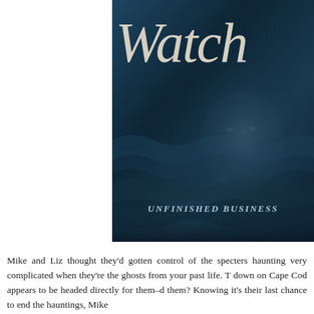[Figure (illustration): Book cover with dark blue ocean background, title text 'Watch' in italic serif font, ghostly face visible in the water, subtitle 'UNFINISHED BUSINESS' in bold italic caps at the bottom of the cover image]
Mike and Liz thought they'd gotten control of the specters haunting very complicated when they're the ghosts from your past life. T down on Cape Cod appears to be headed directly for them–d them? Knowing it's their last chance to end the hauntings, Mike